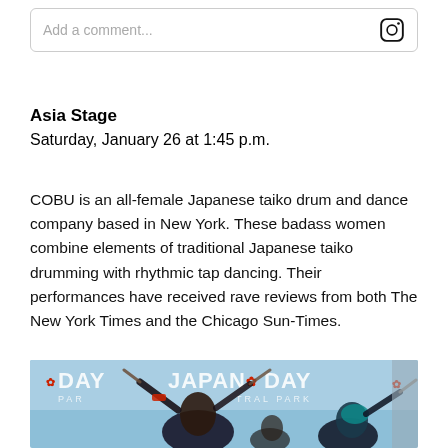Add a comment...
Asia Stage
Saturday, January 26 at 1:45 p.m.
COBU is an all-female Japanese taiko drum and dance company based in New York. These badass women combine elements of traditional Japanese taiko drumming with rhythmic tap dancing. Their performances have received rave reviews from both The New York Times and the Chicago Sun-Times.
[Figure (photo): Two performers at Japan Day in Central Park, holding drumsticks raised above their heads. One with dark hair, one with teal/blue hair. Background shows 'JAPAN DAY CENTRAL PARK' banner with cherry blossom logos in red.]